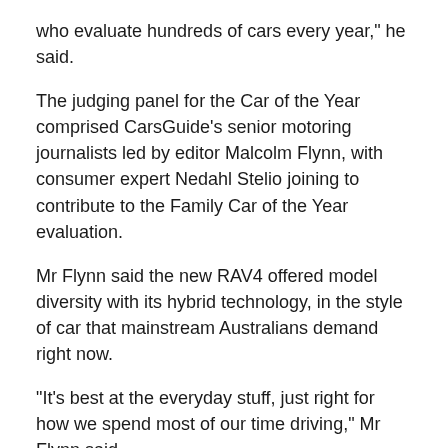who evaluate hundreds of cars every year," he said.
The judging panel for the Car of the Year comprised CarsGuide's senior motoring journalists led by editor Malcolm Flynn, with consumer expert Nedahl Stelio joining to contribute to the Family Car of the Year evaluation.
Mr Flynn said the new RAV4 offered model diversity with its hybrid technology, in the style of car that mainstream Australians demand right now.
"It's best at the everyday stuff, just right for how we spend most of our time driving," Mr Flynn said.
Ms Stelio added: "It brings leading safety, everyday practicality and comfort, and a variety of models with seamless hybrid integration in either two or all-wheel drive, all for good value that Australian families are looking for.